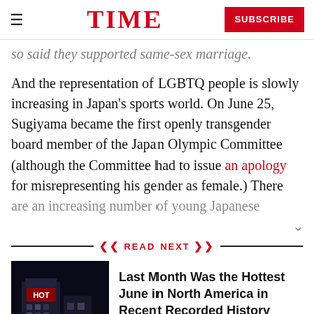TIME | SUBSCRIBE
so said they supported same-sex marriage.
And the representation of LGBTQ people is slowly increasing in Japan's sports world. On June 25, Sugiyama became the first openly transgender board member of the Japan Olympic Committee (although the Committee had to issue an apology for misrepresenting his gender as female.) There are an increasing number of young Japanese
READ NEXT
[Figure (photo): Photo of a building with a HOT sign at night]
Last Month Was the Hottest June in North America in Recent Recorded History